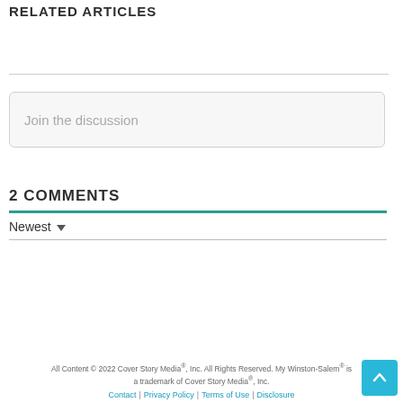RELATED ARTICLES
Join the discussion
2 COMMENTS
Newest
All Content © 2022 Cover Story Media®, Inc. All Rights Reserved. My Winston-Salem® is a trademark of Cover Story Media®, Inc. Contact | Privacy Policy | Terms of Use | Disclosure